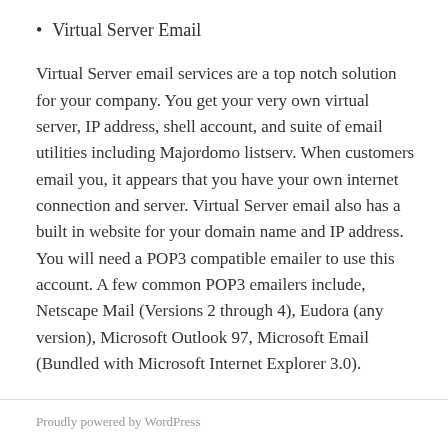Virtual Server Email
Virtual Server email services are a top notch solution for your company. You get your very own virtual server, IP address, shell account, and suite of email utilities including Majordomo listserv. When customers email you, it appears that you have your own internet connection and server. Virtual Server email also has a built in website for your domain name and IP address. You will need a POP3 compatible emailer to use this account. A few common POP3 emailers include, Netscape Mail (Versions 2 through 4), Eudora (any version), Microsoft Outlook 97, Microsoft Email (Bundled with Microsoft Internet Explorer 3.0).
Proudly powered by WordPress